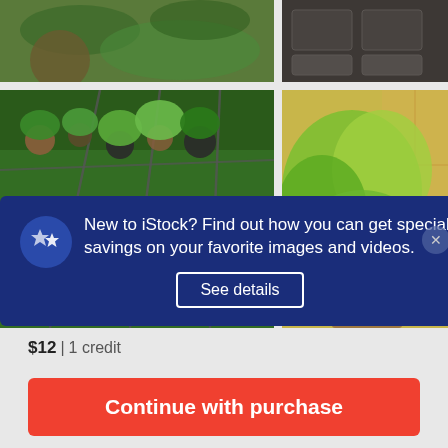[Figure (photo): Top-left photo of garden/plants with brown barrel/pot]
[Figure (photo): Top-right photo of dark seed trays or planting trays]
[Figure (photo): Bottom-left photo of greenhouse with many green plants in pots on shelves with metal frame structure]
[Figure (photo): Bottom-right photo of bright green leafy plant near a window with yellow-green leaves]
New to iStock? Find out how you can get special savings on your favorite images and videos. See details
$12 | 1 credit
Continue with purchase